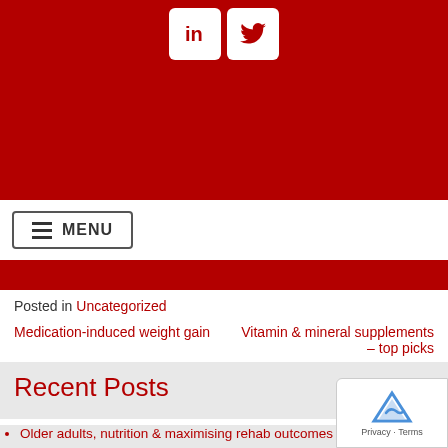[Figure (other): Red header bar with LinkedIn and Twitter social media icon buttons (white icons on white rounded rectangles against red background)]
[Figure (other): Menu button with hamburger icon and MENU text]
Posted in Uncategorized
Medication-induced weight gain   Vitamin & mineral supplements – top picks
Recent Posts
Older adults, nutrition & maximising rehab outcomes
Female hormone changes after a brain injury
Osseointegration, bone health...and nutrition
Safety tips for people with smell loss
Protein powders in rehab – who needs them and when?